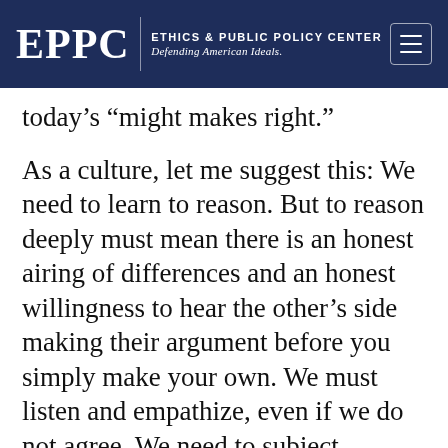EPPC | ETHICS & PUBLIC POLICY CENTER Defending American Ideals.
today’s “might makes right.”
As a culture, let me suggest this: We need to learn to reason. But to reason deeply must mean there is an honest airing of differences and an honest willingness to hear the other’s side making their argument before you simply make your own. We must listen and empathize, even if we do not agree. We need to subject ourselves to interrogation. Socrates once said, “the unexamined life is not worth living.” That’s another way of saying the unreasoned, impulse-driven nature of our society prohibits deep thought from testing our assumptions and